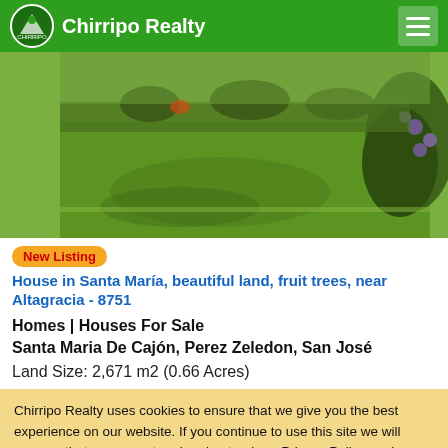Chirripo Realty
[Figure (photo): Aerial or ground-level photo of green lawn with trees and garden area, property listing image]
New Listing House in Santa María, beautiful land, fruit trees, near Altagracia - 8751
Homes | Houses For Sale
Santa Maria De Cajón, Perez Zeledon, San José
Land Size: 2,671 m2 (0.66 Acres)
Chirripo Realty uses cookies to ensure that we give you the best experience on our website. If you continue to use this site we will assume that you accept and understand our Privacy Policy, and our Terms of Service.
Accept